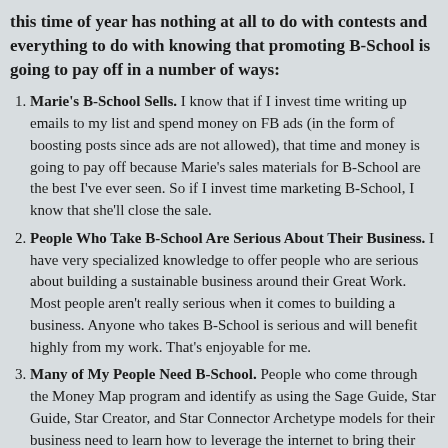this time of year has nothing at all to do with contests and everything to do with knowing that promoting B-School is going to pay off in a number of ways:
Marie's B-School Sells. I know that if I invest time writing up emails to my list and spend money on FB ads (in the form of boosting posts since ads are not allowed), that time and money is going to pay off because Marie's sales materials for B-School are the best I've ever seen. So if I invest time marketing B-School, I know that she'll close the sale.
People Who Take B-School Are Serious About Their Business. I have very specialized knowledge to offer people who are serious about building a sustainable business around their Great Work. Most people aren't really serious when it comes to building a business. Anyone who takes B-School is serious and will benefit highly from my work. That's enjoyable for me.
Many of My People Need B-School. People who come through the Money Map program and identify as using the Sage Guide, Star Guide, Star Creator, and Star Connector Archetype models for their business need to learn how to leverage the internet to bring their work online. B-School teaches that and